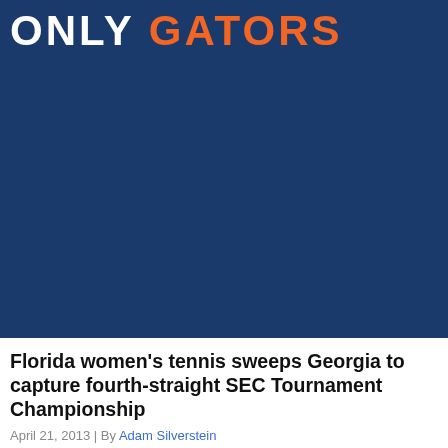ONLY GATORS
Florida women's tennis sweeps Georgia to capture fourth-straight SEC Tournament Championship
April 21, 2013 | By Adam Silverstein
WEEKEND: Gymnastics wins first NCAA title | Lacrosse routs Northwestern The historic weekend for Florida Gators women's athletics continued on Sunday when the second-ranked tennis team brought home the 2013 Southeastern...
1